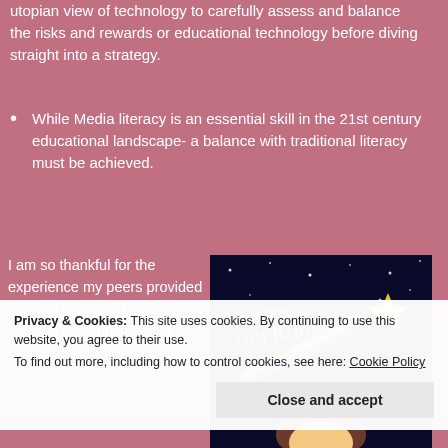utopian view of technology to carefully assess and balance the risks and rewards or educational technology before diving straight into a strategy.
While Media literacy is an essential skill in the 21st century educational landscape- a balance with traditional literacy must be achieved.
I am so thankful for the experience my peers provided me with tonight, to question my own assumptions and
[Figure (photo): The More You Know logo - colorful text on a night sky background with a shooting star and rainbow trail, with a cartoon character's head at the bottom]
Privacy & Cookies: This site uses cookies. By continuing to use this website, you agree to their use.
To find out more, including how to control cookies, see here: Cookie Policy